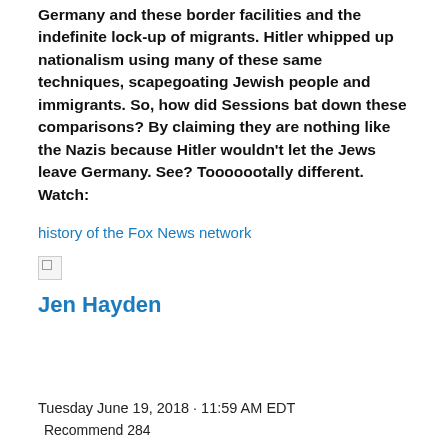Germany and these border facilities and the indefinite lock-up of migrants. Hitler whipped up nationalism using many of these same techniques, scapegoating Jewish people and immigrants. So, how did Sessions bat down these comparisons? By claiming they are nothing like the Nazis because Hitler wouldn't let the Jews leave Germany. See? Tooooootally different. Watch:
history of the Fox News network
[Figure (photo): Broken/missing image placeholder icon]
Jen Hayden
Tuesday June 19, 2018 · 11:59 AM EDT
Recommend 284